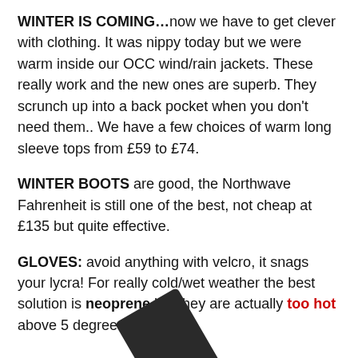WINTER IS COMING…now we have to get clever with clothing. It was nippy today but we were warm inside our OCC wind/rain jackets. These really work and the new ones are superb. They scrunch up into a back pocket when you don't need them.. We have a few choices of warm long sleeve tops from £59 to £74.
WINTER BOOTS are good, the Northwave Fahrenheit is still one of the best, not cheap at £135 but quite effective.
GLOVES: avoid anything with velcro, it snags your lycra! For really cold/wet weather the best solution is neoprene but they are actually too hot above 5 degrees.
[Figure (photo): Dark colored glove or cycling glove product photo, partially visible at bottom of page]